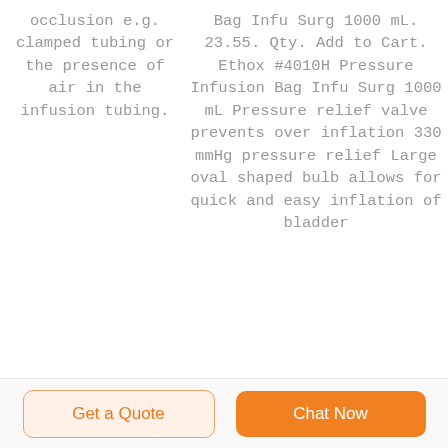occlusion e.g. clamped tubing or the presence of air in the infusion tubing.
Bag Infu Surg 1000 mL. 23.55. Qty. Add to Cart. Ethox #4010H Pressure Infusion Bag Infu Surg 1000 mL Pressure relief valve prevents over inflation 330 mmHg pressure relief Large oval shaped bulb allows for quick and easy inflation of bladder
Get a Quote
Chat Now